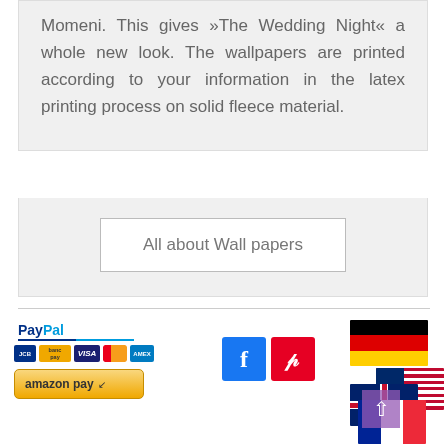Momeni. This gives »The Wedding Night« a whole new look. The wallpapers are printed according to your information in the latex printing process on solid fleece material.
All about Wall papers
[Figure (logo): PayPal logo with credit card icons (JCB, BancorpSouth, VISA, Mastercard, Amex) and Amazon Pay button]
[Figure (logo): Facebook and Pinterest social media icon buttons]
[Figure (illustration): German flag, US flag, UK flag, and French flag stacked/overlapping with a purple arrow overlay icon]